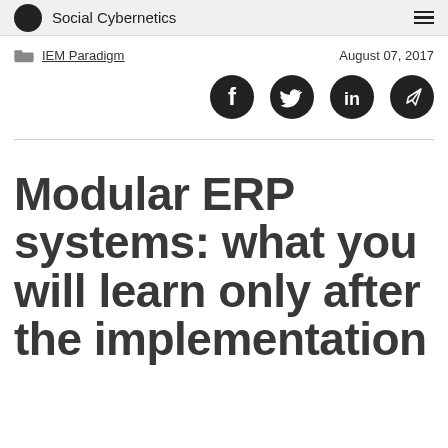Social Cybernetics
IEM Paradigm   August 07, 2017
[Figure (illustration): Social share icons: Facebook, Twitter, LinkedIn, Telegram]
Modular ERP systems: what you will learn only after the implementation